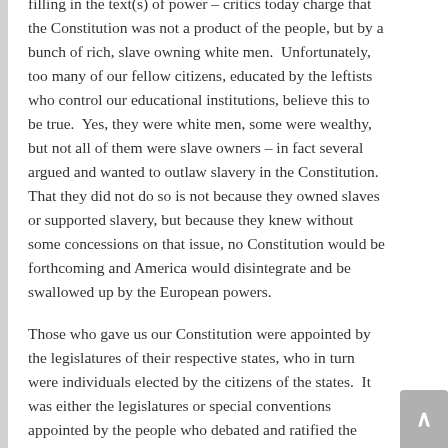filling in the text(s) of power – critics today charge that the Constitution was not a product of the people, but by a bunch of rich, slave owning white men.  Unfortunately, too many of our fellow citizens, educated by the leftists who control our educational institutions, believe this to be true.  Yes, they were white men, some were wealthy, but not all of them were slave owners – in fact several argued and wanted to outlaw slavery in the Constitution.  That they did not do so is not because they owned slaves or supported slavery, but because they knew without some concessions on that issue, no Constitution would be forthcoming and America would disintegrate and be swallowed up by the European powers.
Those who gave us our Constitution were appointed by the legislatures of their respective states, who in turn were individuals elected by the citizens of the states.  It was either the legislatures or special conventions appointed by the people who debated and ratified the Constitution, and in the case of Rhode Island, it was ratified by the direct election process of the people (albeit not until May 1790 because the people initially rejected